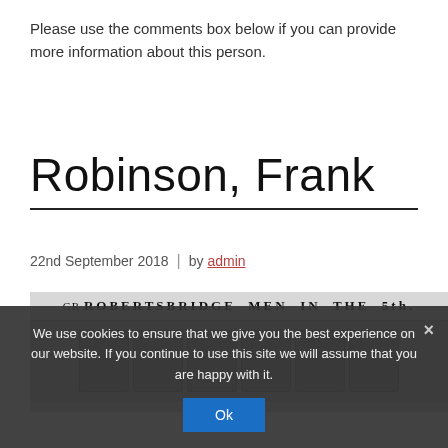Please use the comments box below if you can provide more information about this person.
Robinson, Frank
22nd September 2018  |  by admin
[Figure (photo): Old newspaper clipping showing 'ROBERTSBRIDGE MEN IN THE 5th.' headline with a row of portrait photographs of men]
We use cookies to ensure that we give you the best experience on our website. If you continue to use this site we will assume that you are happy with it.